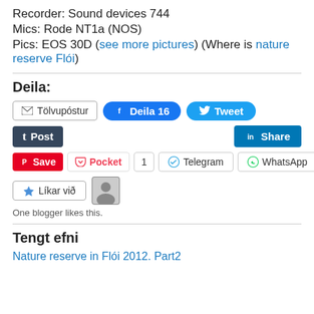Recorder: Sound devices 744
Mics: Rode NT1a (NOS)
Pics: EOS 30D (see more pictures) (Where is nature reserve Flói)
Deila:
[Figure (screenshot): Social share buttons: Tölvupóstur, Deila 16 (Facebook), Tweet (Twitter), Post (Tumblr), Share (LinkedIn), Save (Pinterest), Pocket, 1, Telegram, WhatsApp]
[Figure (screenshot): Líkar við button and blogger avatar]
One blogger likes this.
Tengt efni
Nature reserve in Flói 2012. Part2